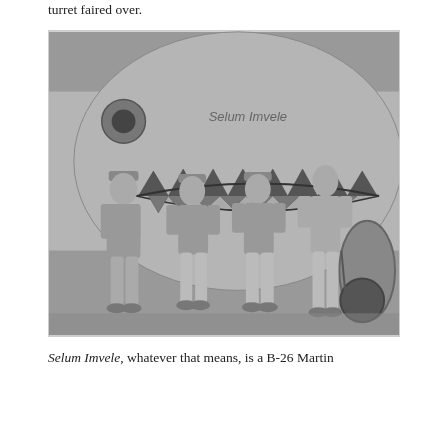turret faired over.
[Figure (photo): Black and white photograph of four men in military uniforms standing in front of a B-26 Martin aircraft with a shark mouth nose art. The aircraft has 'Selum Imvele' painted on it along with a large shark teeth/mouth design. The men are posed casually in front of the plane's nose.]
Selum Imvele, whatever that means, is a B-26 Martin